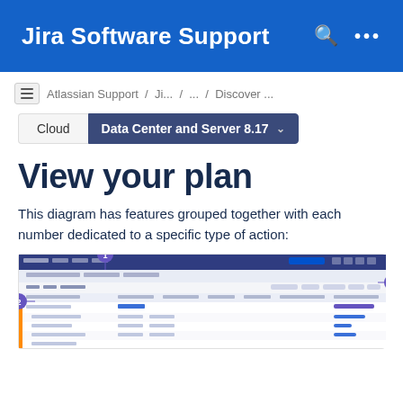Jira Software Support
Atlassian Support / Ji... / ... / Discover ...
Cloud  Data Center and Server 8.17
View your plan
This diagram has features grouped together with each number dedicated to a specific type of action:
[Figure (screenshot): Screenshot of Jira Software plan view interface with numbered callout badges (1, 2, 6) highlighting different areas of the application]